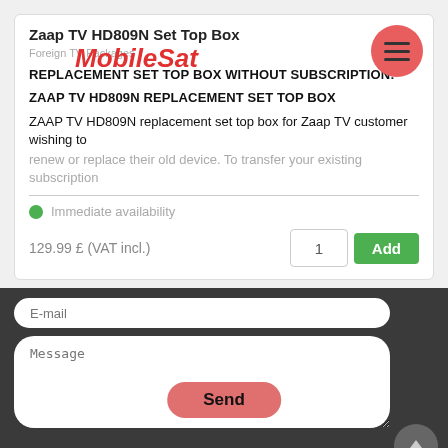Zaap TV HD809N Set Top Box
MobileSat
Foreign TV Packages
REPLACEMENT SET TOP BOX WITHOUT SUBSCRIPTION!
ZAAP TV HD809N REPLACEMENT SET TOP BOX
ZAAP TV HD809N replacement set top box for Zaap TV customer wishing to renew or replace their old device. To transfer your existing subscription
Immediate availability
129.99 £ (VAT incl.)
E-mail
Message
Send
Contact US
Info